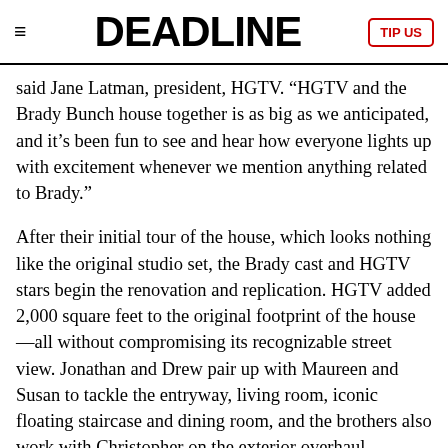DEADLINE
said Jane Latman, president, HGTV. “HGTV and the Brady Bunch house together is as big as we anticipated, and it’s been fun to see and hear how everyone lights up with excitement whenever we mention anything related to Brady.”
After their initial tour of the house, which looks nothing like the original studio set, the Brady cast and HGTV stars begin the renovation and replication. HGTV added 2,000 square feet to the original footprint of the house—all without compromising its recognizable street view. Jonathan and Drew pair up with Maureen and Susan to tackle the entryway, living room, iconic floating staircase and dining room, and the brothers also work with Christopher on the exterior overhaul.
Throughout the rest of the season, Christopher and Eve recreate the orange and green kitchen and family room with Leanne and Steve; Mike and Susan join forces with Mina and Karen to overhaul the kids’ bedrooms, and the Jack and Jill bathroom; as well as the…